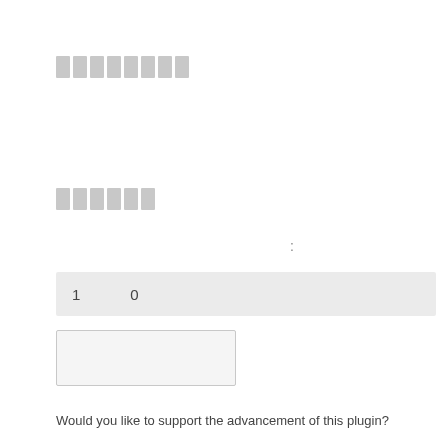[Figure (other): Row of 8 redacted/blocked rectangular characters forming a heading]
[Figure (other): Row of 6 redacted/blocked rectangular characters forming a subheading]
:
| 1 | 0 |
| --- | --- |
[Figure (other): Empty input text box]
Would you like to support the advancement of this plugin?